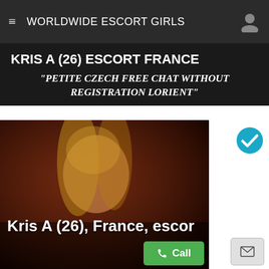WORLDWIDE ESCORT GIRLS
KRIS A (26) ESCORT FRANCE
"PETITE CZECH FREE CHAT WITHOUT REGISTRATION LORIENT"
[Figure (photo): Photo of a young blonde woman against a dark reddish background, with name overlay 'Kris A (26), France, escort' and action buttons Call and mail icon]
Kris A (26), France, escort